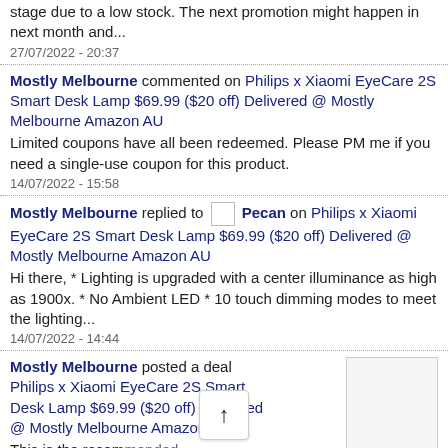stage due to a low stock. The next promotion might happen in next month and...
27/07/2022 - 20:37
Mostly Melbourne commented on Philips x Xiaomi EyeCare 2S Smart Desk Lamp $69.99 ($20 off) Delivered @ Mostly Melbourne Amazon AU
Limited coupons have all been redeemed. Please PM me if you need a single-use coupon for this product.
14/07/2022 - 15:58
Mostly Melbourne replied to Pecan on Philips x Xiaomi EyeCare 2S Smart Desk Lamp $69.99 ($20 off) Delivered @ Mostly Melbourne Amazon AU
Hi there, * Lighting is upgraded with a center illuminance as high as 1900x. * No Ambient LED * 10 touch dimming modes to meet the lighting...
14/07/2022 - 14:44
Mostly Melbourne posted a deal Philips x Xiaomi EyeCare 2S Smart Desk Lamp $69.99 ($20 off) Delivered @ Mostly Melbourne Amazon AU
This is the recommended content of the promotion...